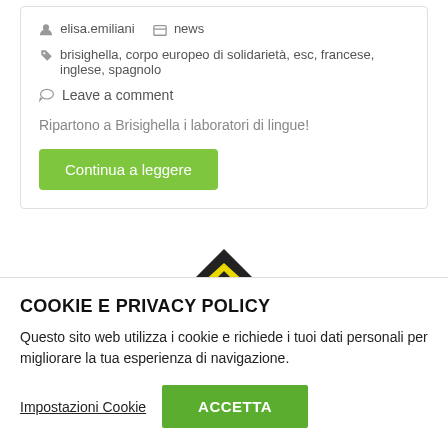elisa.emiliani   news
brisighella, corpo europeo di solidarietà, esc, francese, inglese, spagnolo
Leave a comment
Ripartono a Brisighella i laboratori di lingue!
Continua a leggere
[Figure (logo): Triangle-shaped logo with house/arrow shape in black and yellow]
COOKIE E PRIVACY POLICY
Questo sito web utilizza i cookie e richiede i tuoi dati personali per migliorare la tua esperienza di navigazione.
Impostazioni Cookie   ACCETTA